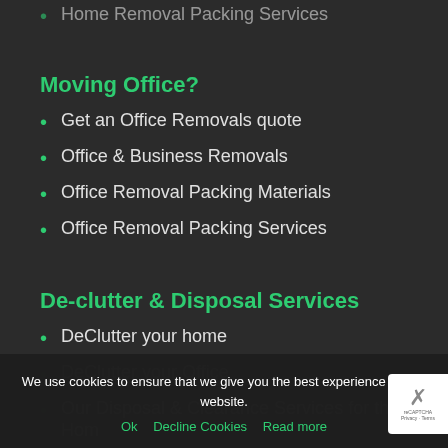Home Removal Packing Services
Moving Office?
Get an Office Removals quote
Office & Business Removals
Office Removal Packing Materials
Office Removal Packing Services
De-clutter & Disposal Services
DeClutter your home
DeClutter your Office
Our Disposal & Clearance Services for the Home
Our Disposal & Clearance Services for the Office
We use cookies to ensure that we give you the best experience on our website.
Ok   Decline Cookies   Read more